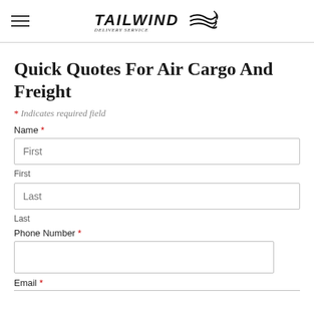TAILWIND DELIVERY SERVICE
Quick Quotes For Air Cargo And Freight
* Indicates required field
Name *
First
First
Last
Last
Phone Number *
Email *